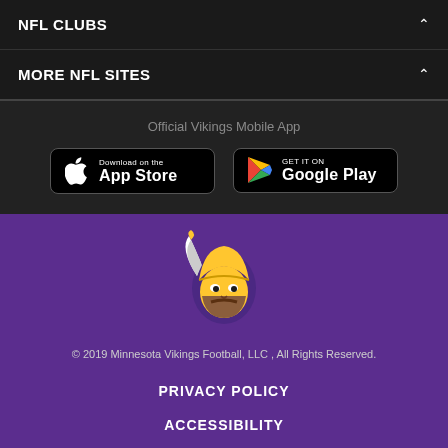NFL CLUBS
MORE NFL SITES
Official Vikings Mobile App
[Figure (screenshot): Download on the App Store button]
[Figure (screenshot): Get it on Google Play button]
[Figure (logo): Minnesota Vikings logo - viking head with gold horns on purple background]
© 2019 Minnesota Vikings Football, LLC , All Rights Reserved.
PRIVACY POLICY
ACCESSIBILITY
CONTACT US
JOBS